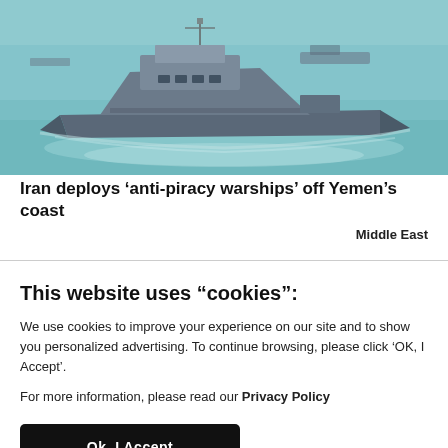[Figure (photo): Military warship sailing on turquoise sea water, with another vessel visible in the background.]
Iran deploys ‘anti-piracy warships’ off Yemen’s coast
Middle East
This website uses "cookies":
We use cookies to improve your experience on our site and to show you personalized advertising. To continue browsing, please click ‘OK, I Accept’.
For more information, please read our Privacy Policy
Ok, I Accept